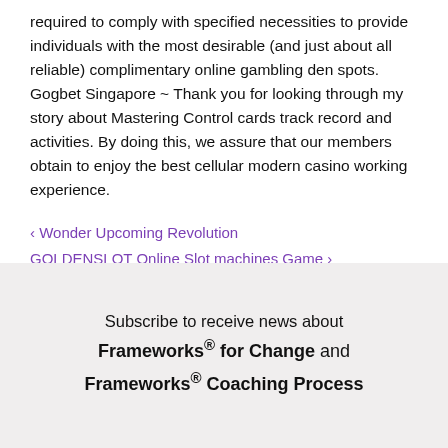required to comply with specified necessities to provide individuals with the most desirable (and just about all reliable) complimentary online gambling den spots. Gogbet Singapore ~ Thank you for looking through my story about Mastering Control cards track record and activities. By doing this, we assure that our members obtain to enjoy the best cellular modern casino working experience.
‹ Wonder Upcoming Revolution
GOLDENSLOT Online Slot machines Game ›
Subscribe to receive news about Frameworks® for Change and Frameworks® Coaching Process